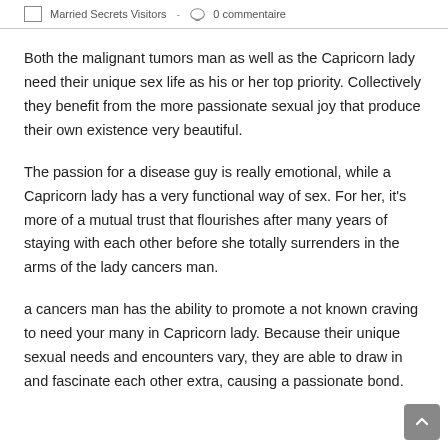Married Secrets Visitors - 0 commentaire
Both the malignant tumors man as well as the Capricorn lady need their unique sex life as his or her top priority. Collectively they benefit from the more passionate sexual joy that produce their own existence very beautiful.
The passion for a disease guy is really emotional, while a Capricorn lady has a very functional way of sex. For her, it's more of a mutual trust that flourishes after many years of staying with each other before she totally surrenders in the arms of the lady cancers man.
a cancers man has the ability to promote a not known craving to need your many in Capricorn lady. Because their unique sexual needs and encounters vary, they are able to draw in and fascinate each other extra, causing a passionate bond.